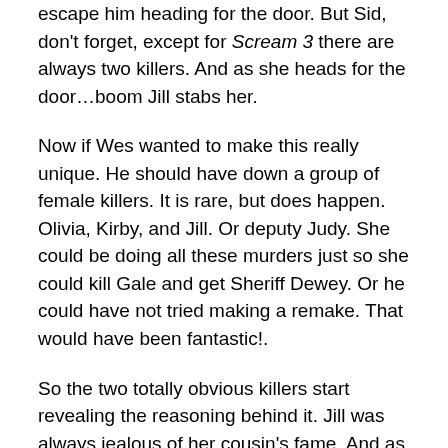escape him heading for the door. But Sid, don't forget, except for Scream 3 there are always two killers. And as she heads for the door…boom Jill stabs her.
Now if Wes wanted to make this really unique. He should have down a group of female killers. It is rare, but does happen. Olivia, Kirby, and Jill. Or deputy Judy. She could be doing all these murders just so she could kill Gale and get Sheriff Dewey. Or he could have not tried making a remake. That would have been fantastic!.
So the two totally obvious killers start revealing the reasoning behind it. Jill was always jealous of her cousin's fame. And as Emma Roberts…I mean Jill has no talent, she figures this is the quickest way to make her famous.
Jill Roberts: My friends? What world are you living in? I don't need friends. I need fans. Don't you get it? This has